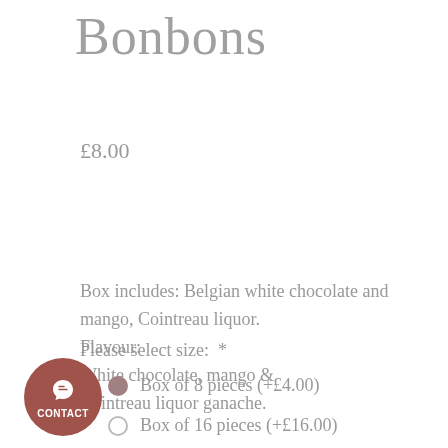Bonbons
£8.00
Box includes: Belgian white chocolate and mango, Cointreau liquor. Flavour: White chocolate, mango & Cointreau liquor ganache.
Please select size: *
Box of 8 pieces (+£4.00)
Box of 16 pieces (+£16.00)
[Figure (other): Contact button: a circular brown button with a chat/speech bubble icon and the text CONTACT below it]